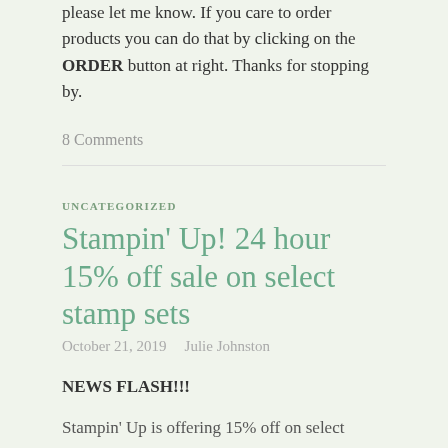please let me know. If you care to order products you can do that by clicking on the ORDER button at right. Thanks for stopping by.
8 Comments
UNCATEGORIZED
Stampin' Up! 24 hour 15% off sale on select stamp sets
October 21, 2019   Julie Johnston
NEWS FLASH!!!
Stampin' Up is offering 15% off on select stamps